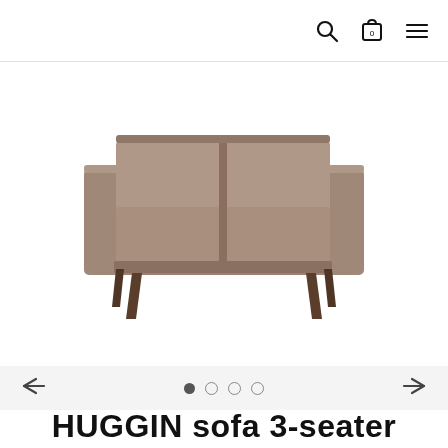Navigation bar with search, cart (0), and menu icons
[Figure (photo): A brown fabric two-seater sofa (HUGGIN sofa 3-seater) with mid-century modern wooden legs, shown from the front on a white background]
[Figure (infographic): Image carousel navigation with left arrow, four dots (first filled, three empty), and right arrow]
HUGGIN sofa 3-seater